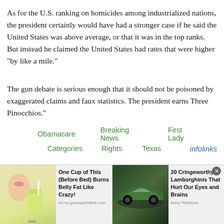As for the U.S. ranking on homicides among industrialized nations, the president certainly would have had a stronger case if he said the United States was above average, or that it was in the top ranks. But instead he claimed the United States had rates that were higher “by like a mile.”
The gun debate is serious enough that it should not be poisoned by exaggerated claims and faux statistics. The president earns Three Pinocchios.”
Obamacare
Breaking News
First Lady
Categories
Rights
Texas
[Figure (screenshot): Advertisement banner with two ad items: 'One Cup of This (Before Bed) Burns Belly Fat Like Crazy!' with drink image, and '20 Cringeworthy Lamborghinis That Hurt Our Eyes and Brains' with car image. Close button visible.]